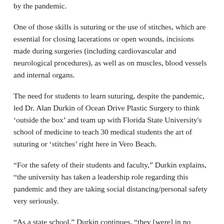by the pandemic.
One of those skills is suturing or the use of stitches, which are essential for closing lacerations or open wounds, incisions made during surgeries (including cardiovascular and neurological procedures), as well as on muscles, blood vessels and internal organs.
The need for students to learn suturing, despite the pandemic, led Dr. Alan Durkin of Ocean Drive Plastic Surgery to think ‘outside the box’ and team up with Florida State University's school of medicine to teach 30 medical students the art of suturing or ‘stitches’ right here in Vero Beach.
“For the safety of their students and faculty,” Durkin explains, “the university has taken a leadership role regarding this pandemic and they are taking social distancing/personal safety very seriously.
“As a state school,” Durkin continues, “they [were] in no position to disregard CDC guidelines nor did they want to. This resulted in rules